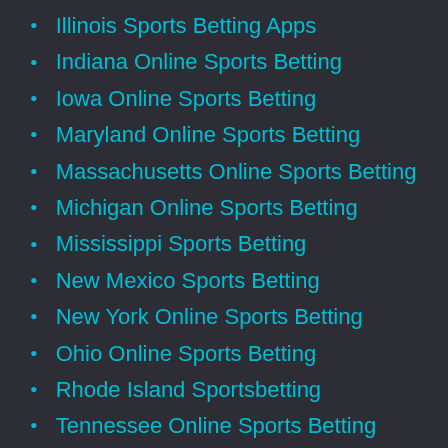Illinois Sports Betting Apps
Indiana Online Sports Betting
Iowa Online Sports Betting
Maryland Online Sports Betting
Massachusetts Online Sports Betting
Michigan Online Sports Betting
Mississippi Sports Betting
New Mexico Sports Betting
New York Online Sports Betting
Ohio Online Sports Betting
Rhode Island Sportsbetting
Tennessee Online Sports Betting
Virginia Online Sports Betting